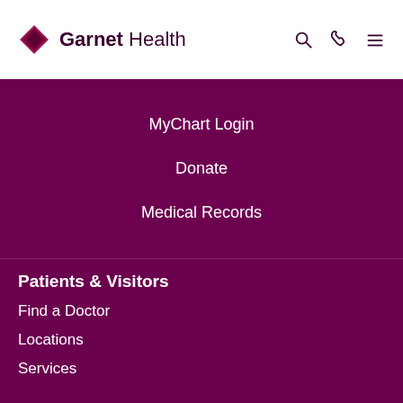Garnet Health
MyChart Login
Donate
Medical Records
Patients & Visitors
Find a Doctor
Locations
Services